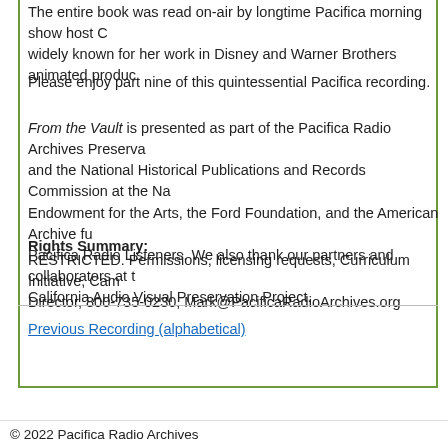The entire book was read on-air by longtime Pacifica morning show host C... widely known for her work in Disney and Warner Brothers animated produ...
Please enjoy part nine of this quintessential Pacifica recording.
From the Vault is presented as part of the Pacifica Radio Archives Preserva... and the National Historical Publications and Records Commission at the Na... Endowment for the Arts, the Ford Foundation, and the American Archive fu... Pacifica Radio Listeners. We also thank our partners and collaborators at t... California Audio Visual Preservation Project.
Rights Summary:
RESTRICTED. Permissions, licensing requests, Curriculum Initiative, Cam... Director, 800-735-0230, Mark@PacificaRadioArchives.org
Previous Recording (alphabetical)
© 2022 Pacifica Radio Archives